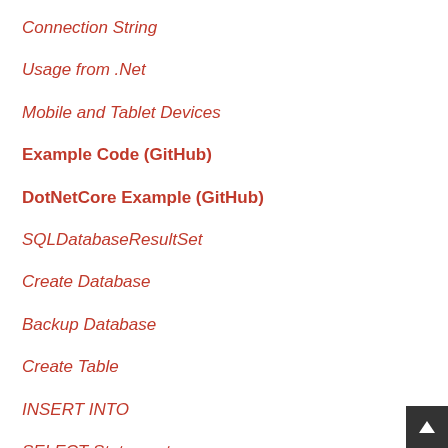Connection String
Usage from .Net
Mobile and Tablet Devices
Example Code (GitHub)
DotNetCore Example (GitHub)
SQLDatabaseResultSet
Create Database
Backup Database
Create Table
INSERT INTO
SELECT Statement
UPDATE Statement